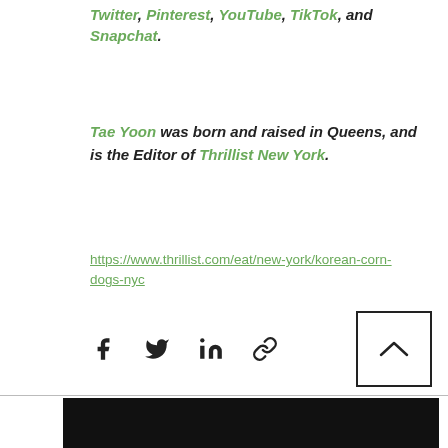Twitter, Pinterest, YouTube, TikTok, and Snapchat.
Tae Yoon was born and raised in Queens, and is the Editor of Thrillist New York.
https://www.thrillist.com/eat/new-york/korean-corn-dogs-nyc
[Figure (infographic): Social share icons: Facebook, Twitter, LinkedIn, link/chain icon, and a back-to-top arrow button in a bordered square]
[Figure (photo): Black bar at the bottom of the page]